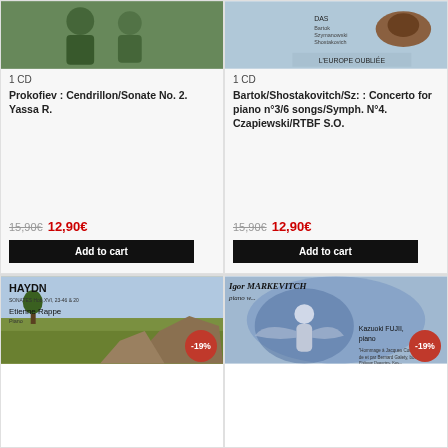[Figure (photo): CD product card top-left: photo of two people, album image for Prokofiev Cendrillon/Sonate No. 2 by Yassa R.]
1 CD
Prokofiev : Cendrillon/Sonate No. 2. Yassa R.
15,90€ 12,90€
Add to cart
[Figure (photo): CD product card top-right: album cover for Bartok/Shostakovitch/Szymanowski L'Europe Oubliée]
1 CD
Bartok/Shostakovitch/Sz: : Concerto for piano n°3/6 songs/Symph. N°4. Czapiewski/RTBF S.O.
15,90€ 12,90€
Add to cart
[Figure (photo): CD product card bottom-left: Haydn Sonates album cover with Etienne Rappe Piano, landscape painting background, -19% discount badge]
[Figure (photo): CD product card bottom-right: Igor Markevitch piano album cover with Kazuoki Fujii piano, blue artistic illustration, -19% discount badge]